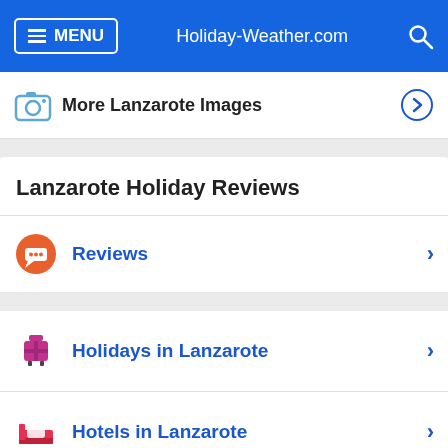MENU  Holiday-Weather.com
More Lanzarote Images
Lanzarote Holiday Reviews
Reviews
Holidays in Lanzarote
Hotels in Lanzarote